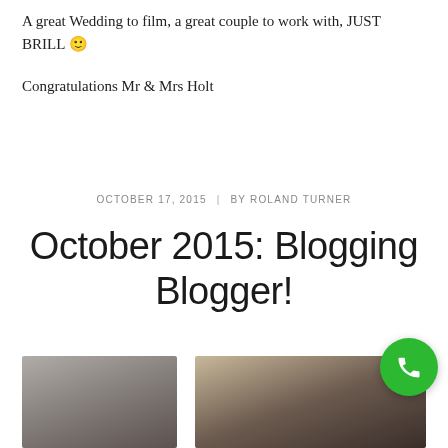A great Wedding to film, a great couple to work with, JUST BRILL 🙂
Congratulations Mr & Mrs Holt
OCTOBER 17, 2015 | BY ROLAND TURNER
October 2015: Blogging Blogger!
[Figure (photo): Two partial photo thumbnails side by side at the bottom of the page: left shows a blurred portrait/face, right shows a person holding a camera. A green phone call button overlays the bottom right corner.]